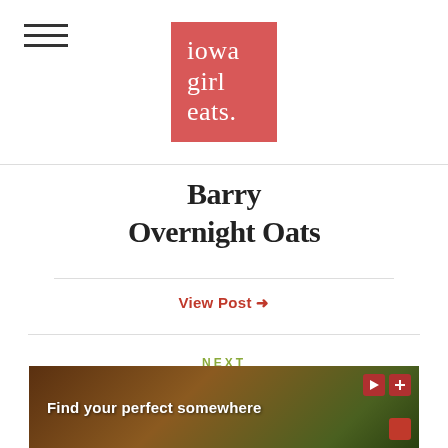[Figure (logo): Iowa Girl Eats logo — red/salmon square with white serif text reading 'iowa girl eats.']
Ba__rry Overnight Oats
View Post →
NEXT
New Orleans Day 2:
[Figure (photo): Advertisement banner reading 'Find your perfect somewhere' with outdoor/travel imagery and red control icons]